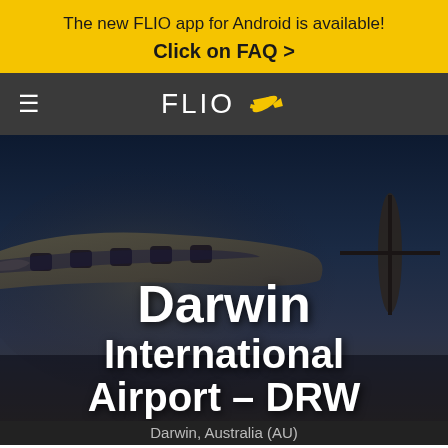The new FLIO app for Android is available!
Click on FAQ >
[Figure (logo): FLIO logo with airplane icon on dark grey navigation bar, with hamburger menu on the left]
[Figure (photo): Dark atmospheric photo of a turboprop aircraft on a tarmac at dusk/night with dark blue sky]
Darwin International Airport - DRW
Darwin, Australia (AU)